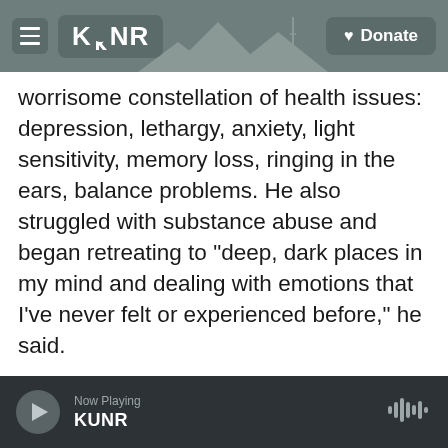KUNR | Donate
worrisome constellation of health issues: depression, lethargy, anxiety, light sensitivity, memory loss, ringing in the ears, balance problems. He also struggled with substance abuse and began retreating to "deep, dark places in my mind and dealing with emotions that I've never felt or experienced before," he said.
"I knew there was something wrong," he said, "and that's when I started talking to more and more of my teammates, and more and more people, and realized I wasn't the only one. There's a lot of other people out there, mostly football guys, that were
Now Playing KUNR